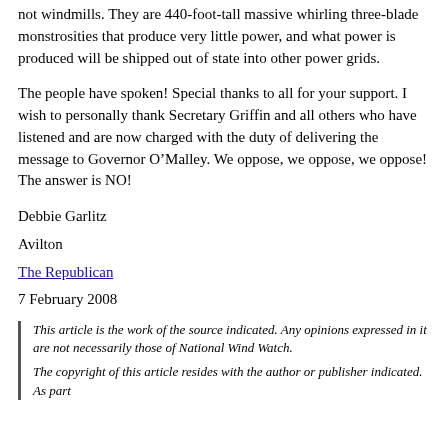not windmills. They are 440-foot-tall massive whirling three-blade monstrosities that produce very little power, and what power is produced will be shipped out of state into other power grids.
The people have spoken! Special thanks to all for your support. I wish to personally thank Secretary Griffin and all others who have listened and are now charged with the duty of delivering the message to Governor O’Malley. We oppose, we oppose, we oppose! The answer is NO!
Debbie Garlitz
Avilton
The Republican
7 February 2008
This article is the work of the source indicated. Any opinions expressed in it are not necessarily those of National Wind Watch.
The copyright of this article resides with the author or publisher indicated. As part